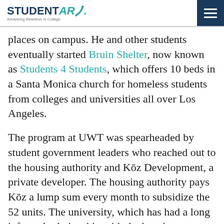STUDENT ARC — Advancing Retention in College
places on campus. He and other students eventually started Bruin Shelter, now known as Students 4 Students, which offers 10 beds in a Santa Monica church for homeless students from colleges and universities all over Los Angeles.
The program at UWT was spearheaded by student government leaders who reached out to the housing authority and Kōz Development, a private developer. The housing authority pays Kōz a lump sum every month to subsidize the 52 units. The university, which has had a long informal relationship with the housing authority, is